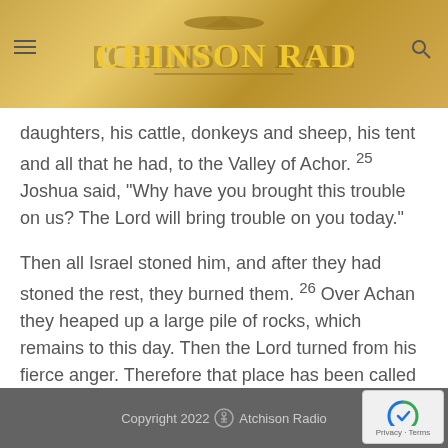Atchinson Radio
daughters, his cattle, donkeys and sheep, his tent and all that he had, to the Valley of Achor. 25 Joshua said, “Why have you brought this trouble on us? The Lord will bring trouble on you today.”
Then all Israel stoned him, and after they had stoned the rest, they burned them. 26 Over Achan they heaped up a large pile of rocks, which remains to this day. Then the Lord turned from his fierce anger. Therefore that place has been called the Valley of Achor ever since.
Copyright 2022 © Atchison Radio